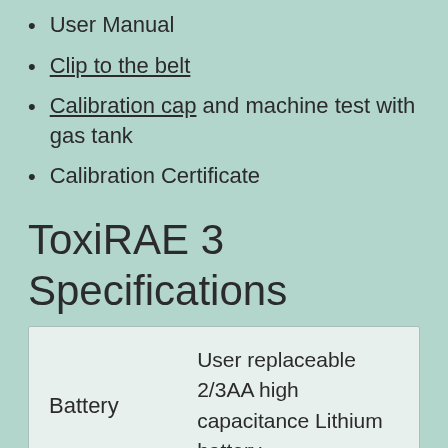User Manual
Clip to the belt
Calibration cap and machine test with gas tank
Calibration Certificate
ToxiRAE 3 Specifications
| Battery | User replaceable 2/3AA high capacitance Lithium battery |